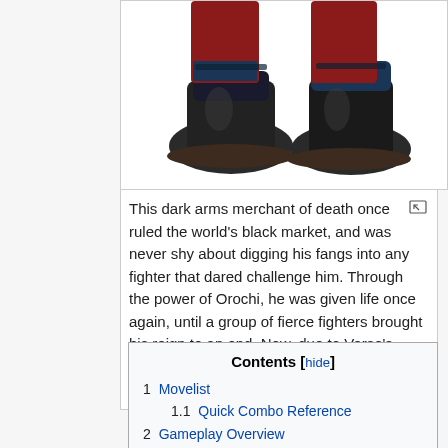[Figure (illustration): Partial illustration of a video game character's boots/lower body, showing dark boots with red pants, cropped at the top of the image frame.]
This dark arms merchant of death once ruled the world's black market, and was never shy about digging his fangs into any fighter that dared challenge him. Through the power of Orochi, he was given life once again, until a group of fierce fighters brought his reign to an end. Now, due to Verse's influence, he's returned to the mortal realm to extract vengeance.
| Contents |
| --- |
| 1  Movelist |
| 1.1  Quick Combo Reference |
| 2  Gameplay Overview |
| 3  Normals |
| 3.1  Far Standing Normals |
| 3.2  Close Standing Normals |
| 3.3  Crouch Normals |
| 3.4  Jump Normals |
| 3.5  Rush |